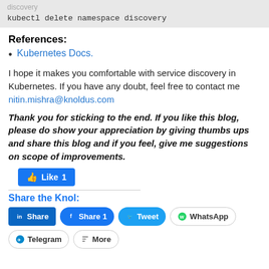discovery
kubectl delete namespace discovery
References:
Kubernetes Docs.
I hope it makes you comfortable with service discovery in Kubernetes. If you have any doubt, feel free to contact me nitin.mishra@knoldus.com
Thank you for sticking to the end. If you like this blog, please do show your appreciation by giving thumbs ups and share this blog and if you feel, give me suggestions on scope of improvements.
[Figure (screenshot): Facebook Like button showing count of 1]
Share the Knol:
[Figure (screenshot): Social share buttons: LinkedIn Share, Facebook Share 1, Twitter Tweet, WhatsApp, Telegram, More. Blue side tab button on right.]